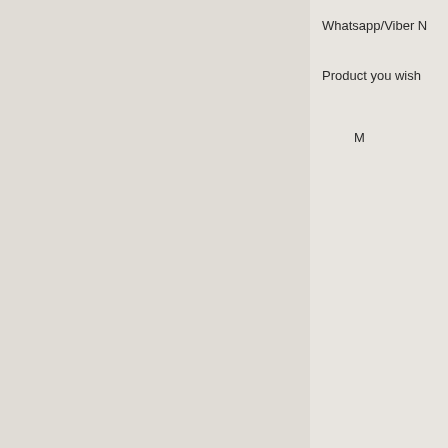Whatsapp/Viber N
Product you wish
M